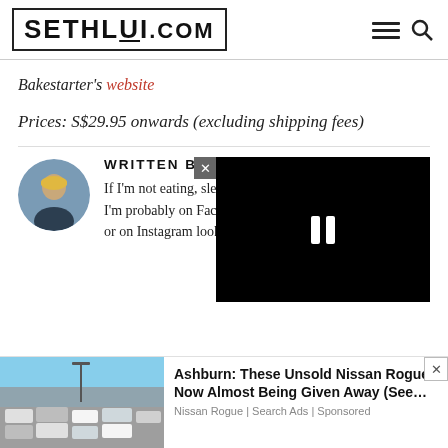SETHLUI.COM
Bakestarter's website
Prices: S$29.95 onwards (excluding shipping fees)
WRITTEN BY TRESSELLA CHANG
If I'm not eating, sleeping or daydreaming about food, I'm probably on Facebook watching cooking videos or on Instagram looking for food inspo.
[Figure (photo): Advertisement video overlay with pause button, shown over author bio section]
[Figure (photo): Bottom advertisement banner showing a parking lot full of cars (Nissan Rogues)]
Ashburn: These Unsold Nissan Rogues Now Almost Being Given Away (See…
Nissan Rogue | Search Ads | Sponsored